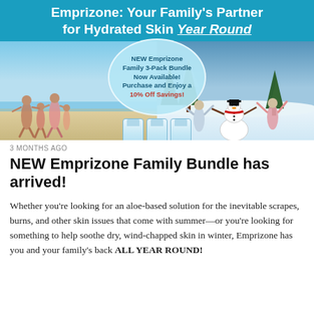[Figure (illustration): Promotional banner for Emprizone skincare product. Blue background with bold white title 'Emprizone: Your Family's Partner for Hydrated Skin Year Round'. Center shows a circular bubble with text 'NEW Emprizone Family 3-Pack Bundle Now Available! Purchase and Enjoy a 10% Off Savings!' with three product tubes below. Left side shows a beach family scene; right side shows a winter children-and-snowman scene.]
3 MONTHS AGO
NEW Emprizone Family Bundle has arrived!
Whether you're looking for an aloe-based solution for the inevitable scrapes, burns, and other skin issues that come with summer—or you're looking for something to help soothe dry, wind-chapped skin in winter, Emprizone has you and your family's back ALL YEAR ROUND!